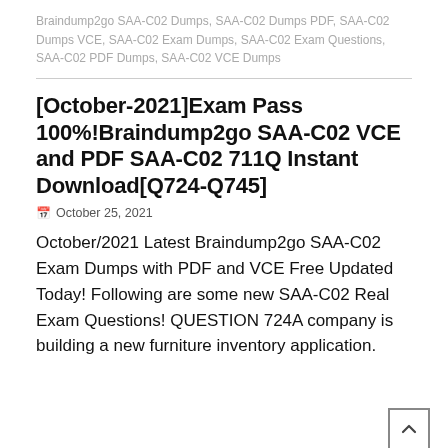Braindump2go SAA-C02 Dumps, SAA-C02 Dumps PDF, SAA-C02 Dumps VCE, SAA-C02 Exam Dumps, SAA-C02 Exam Questions, SAA-C02 PDF Dumps, SAA-C02 VCE Dumps
[October-2021]Exam Pass 100%!Braindump2go SAA-C02 VCE and PDF SAA-C02 711Q Instant Download[Q724-Q745]
October 25, 2021
October/2021 Latest Braindump2go SAA-C02 Exam Dumps with PDF and VCE Free Updated Today! Following are some new SAA-C02 Real Exam Questions! QUESTION 724A company is building a new furniture inventory application.